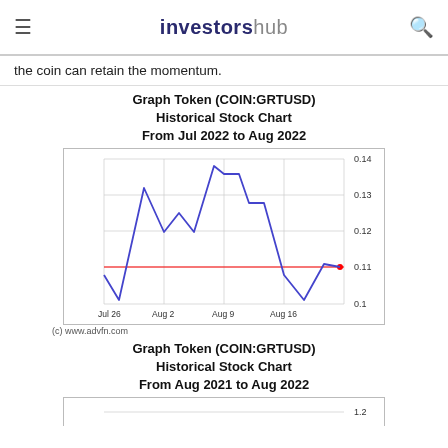investorshub
the coin can retain the momentum.
[Figure (line-chart): Line chart showing GRTUSD price from Jul 2022 to Aug 2022 with a red horizontal reference line at 0.11]
(c) www.advfn.com
[Figure (line-chart): Partially visible line chart at bottom of page]